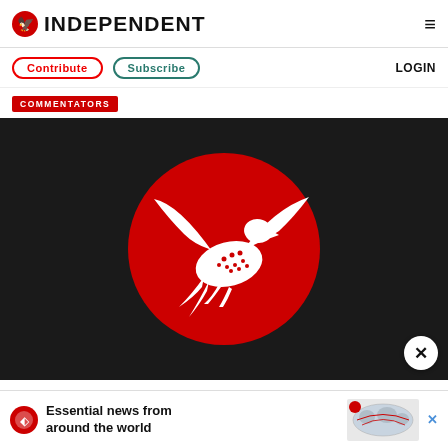INDEPENDENT
Contribute
Subscribe
LOGIN
COMMENTATORS
[Figure (logo): The Independent logo — large red circle with white eagle/bird graphic on black background]
Essential news from around the world